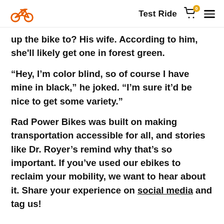Test Ride
up the bike to? His wife. According to him, she'll likely get one in forest green.
“Hey, I’m color blind, so of course I have mine in black,” he joked. “I’m sure it’d be nice to get some variety.”
Rad Power Bikes was built on making transportation accessible for all, and stories like Dr. Royer’s remind why that’s so important. If you’ve used our ebikes to reclaim your mobility, we want to hear about it. Share your experience on social media and tag us!